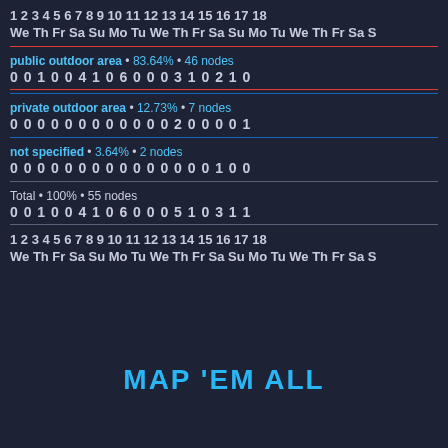| 1 | 2 | 3 | 4 | 5 | 6 | 7 | 8 | 9 | 10 | 11 | 12 | 13 | 14 | 15 | 16 | 17 | 18 |
| --- | --- | --- | --- | --- | --- | --- | --- | --- | --- | --- | --- | --- | --- | --- | --- | --- | --- |
| We | Th | Fr | Sa | Su | Mo | Tu | We | Th | Fr | Sa | Su | Mo | Tu | We | Th | Fr | Sa |
| public outdoor area • 83.64% • 46 nodes |  |  |  |  |  |  |  |  |  |  |  |  |  |  |  |  |  |
| 0 | 0 | 1 | 0 | 0 | 4 | 1 | 0 | 6 | 0 | 0 | 0 | 3 | 1 | 0 | 2 | 1 | 0 |
| private outdoor area • 12.73% • 7 nodes |  |  |  |  |  |  |  |  |  |  |  |  |  |  |  |  |  |
| 0 | 0 | 0 | 0 | 0 | 0 | 0 | 0 | 0 | 0 | 0 | 0 | 2 | 0 | 0 | 0 | 0 | 1 |
| not specified • 3.64% • 2 nodes |  |  |  |  |  |  |  |  |  |  |  |  |  |  |  |  |  |
| 0 | 0 | 0 | 0 | 0 | 0 | 0 | 0 | 0 | 0 | 0 | 0 | 0 | 0 | 0 | 1 | 0 | 0 |
| Total • 100% • 55 nodes |  |  |  |  |  |  |  |  |  |  |  |  |  |  |  |  |  |
| 0 | 0 | 1 | 0 | 0 | 4 | 1 | 0 | 6 | 0 | 0 | 0 | 5 | 1 | 0 | 3 | 1 | 1 |
MAP 'EM ALL